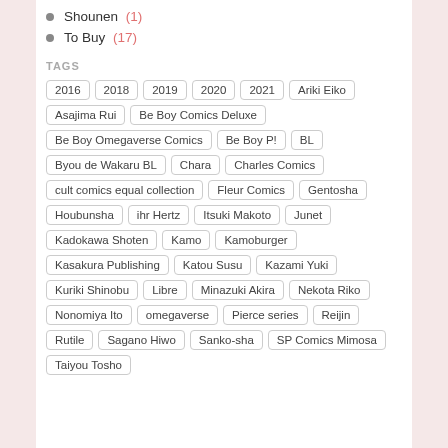Shounen (1)
To Buy (17)
TAGS
2016, 2018, 2019, 2020, 2021, Ariki Eiko, Asajima Rui, Be Boy Comics Deluxe, Be Boy Omegaverse Comics, Be Boy P!, BL, Byou de Wakaru BL, Chara, Charles Comics, cult comics equal collection, Fleur Comics, Gentosha, Houbunsha, ihr Hertz, Itsuki Makoto, Junet, Kadokawa Shoten, Kamo, Kamoburger, Kasakura Publishing, Katou Susu, Kazami Yuki, Kuriki Shinobu, Libre, Minazuki Akira, Nekota Riko, Nonomiya Ito, omegaverse, Pierce series, Reijin, Rutile, Sagano Hiwo, Sanko-sha, SP Comics Mimosa, Taiyou Tosho